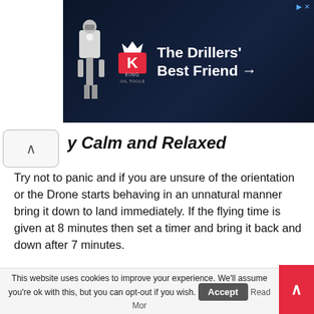[Figure (infographic): King Oil Tools advertisement banner: dark blue background with logo (red K crown symbol) and text 'The Drillers' Best Friend →']
y Calm and Relaxed
Try not to panic and if you are unsure of the orientation or the Drone starts behaving in an unnatural manner bring it down to land immediately. If the flying time is given at 8 minutes then set a timer and bring it back and down after 7 minutes.
Most Drones will give a warning when the battery is low by blinking led lights or a beeping on the transmitter. Try not to wait until this happens as your Drone may be a considerable distance away and discharging the batteries fully will shorten their life.
This website uses cookies to improve your experience. We'll assume you're ok with this, but you can opt-out if you wish. Accept Read More